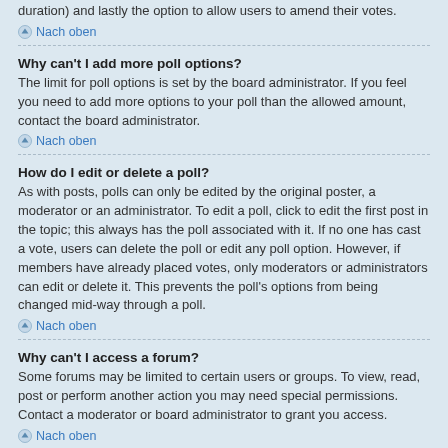duration) and lastly the option to allow users to amend their votes.
Nach oben
Why can't I add more poll options?
The limit for poll options is set by the board administrator. If you feel you need to add more options to your poll than the allowed amount, contact the board administrator.
Nach oben
How do I edit or delete a poll?
As with posts, polls can only be edited by the original poster, a moderator or an administrator. To edit a poll, click to edit the first post in the topic; this always has the poll associated with it. If no one has cast a vote, users can delete the poll or edit any poll option. However, if members have already placed votes, only moderators or administrators can edit or delete it. This prevents the poll's options from being changed mid-way through a poll.
Nach oben
Why can't I access a forum?
Some forums may be limited to certain users or groups. To view, read, post or perform another action you may need special permissions. Contact a moderator or board administrator to grant you access.
Nach oben
Why can't I add attachments?